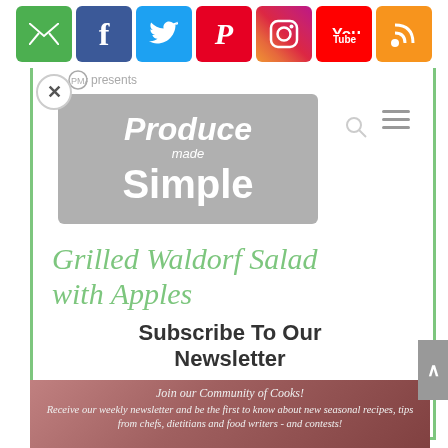[Figure (infographic): Social media icons bar: email (green), Facebook (blue), Twitter (light blue), Pinterest (red), Instagram (gradient), YouTube (red), RSS (orange)]
[Figure (logo): Produce Made Simple logo on grey background, with PMA presents text above]
Grilled Waldorf Salad with Apples
Subscribe To Our Newsletter
Join our Community of Cooks!
Receive our weekly newsletter and be the first to know about new seasonal recipes, tips from chefs, dietitians and food writers - and contests!